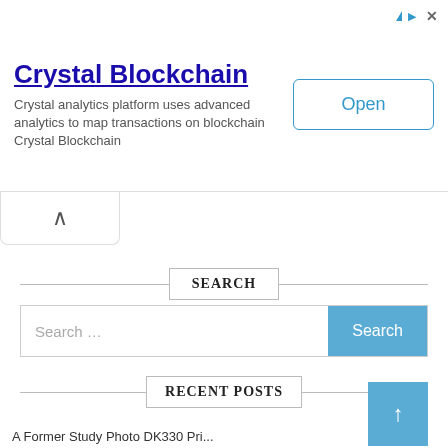[Figure (screenshot): Advertisement banner for Crystal Blockchain with title, description, and Open button]
Crystal Blockchain
Crystal analytics platform uses advanced analytics to map transactions on blockchain Crystal Blockchain
SEARCH
Search …
RECENT POSTS
↑
A Former Study Photo DK330 Pri…